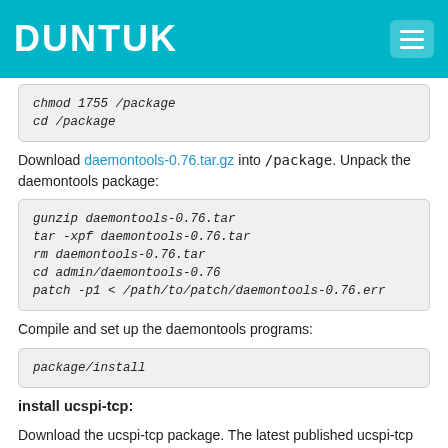DUNTUK
chmod 1755 /package
cd /package
Download daemontools-0.76.tar.gz into /package. Unpack the daemontools package:
gunzip daemontools-0.76.tar
tar -xpf daemontools-0.76.tar
rm daemontools-0.76.tar
cd admin/daemontools-0.76
patch -p1 < /path/to/patch/daemontools-0.76.err
Compile and set up the daemontools programs:
package/install
install ucspi-tcp:
Download the ucspi-tcp package. The latest published ucspi-tcp package is ucspi-tcp-0.88.tar.gz.